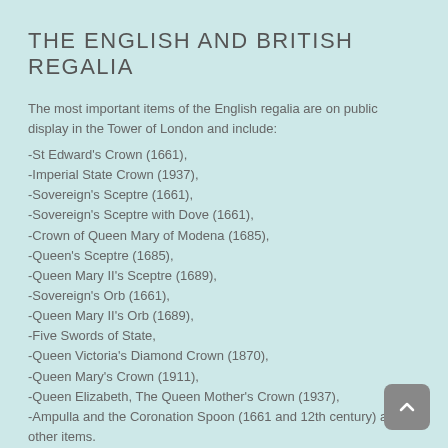THE ENGLISH AND BRITISH REGALIA
The most important items of the English regalia are on public display in the Tower of London and include:
-St Edward's Crown (1661),
-Imperial State Crown (1937),
-Sovereign's Sceptre (1661),
-Sovereign's Sceptre with Dove (1661),
-Crown of Queen Mary of Modena (1685),
-Queen's Sceptre (1685),
-Queen Mary II's Sceptre (1689),
-Sovereign's Orb (1661),
-Queen Mary II's Orb (1689),
-Five Swords of State,
-Queen Victoria's Diamond Crown (1870),
-Queen Mary's Crown (1911),
-Queen Elizabeth, The Queen Mother's Crown (1937),
-Ampulla and the Coronation Spoon (1661 and 12th century) and other items.